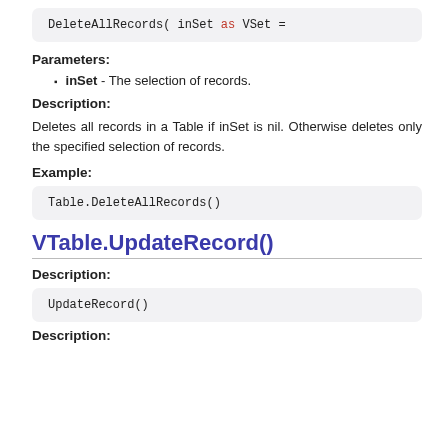Parameters:
inSet - The selection of records.
Description:
Deletes all records in a Table if inSet is nil. Otherwise deletes only the specified selection of records.
Example:
VTable.UpdateRecord()
Description:
Description: